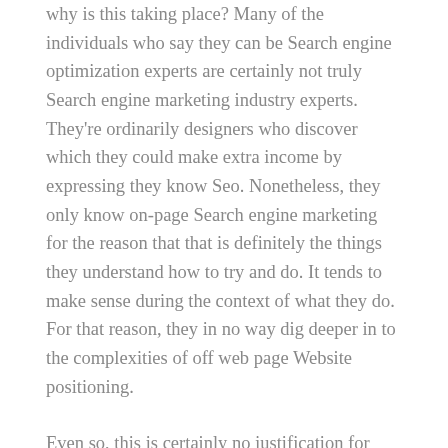why is this taking place? Many of the individuals who say they can be Search engine optimization experts are certainly not truly Search engine marketing industry experts. They're ordinarily designers who discover which they could make extra income by expressing they know Seo. Nonetheless, they only know on-page Search engine marketing for the reason that that is definitely the things they understand how to try and do. It tends to make sense during the context of what they do. For that reason, they in no way dig deeper in to the complexities of off web page Website positioning.
Even so, this is certainly no justification for larger sized Website positioning firms who cost many bucks on a monthly basis. Several of those